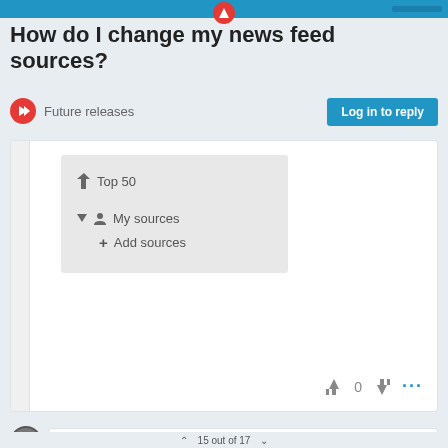How do I change my news feed sources?
Future releases
Log in to reply
[Figure (screenshot): Screenshot of a menu panel showing: Top 50 (with lightning bolt icon), My sources (with person icon and dropdown arrow), Add sources (with plus icon)]
0
leocg  MODERATOR  VOLUNTEER
15 out of 17